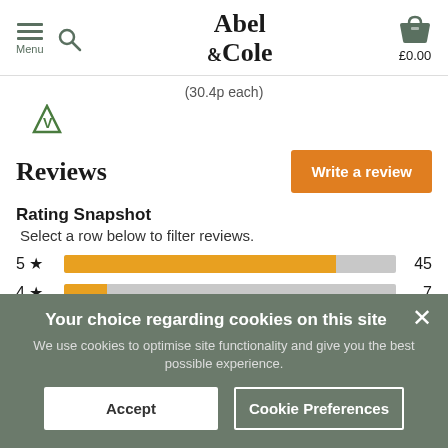Menu | Abel & Cole | £0.00
(30.4p each)
[Figure (logo): Vegan logo - stylized V with leaf]
Reviews
Write a review
Rating Snapshot
Select a row below to filter reviews.
[Figure (bar-chart): Rating Snapshot]
Your choice regarding cookies on this site
We use cookies to optimise site functionality and give you the best possible experience.
Accept
Cookie Preferences